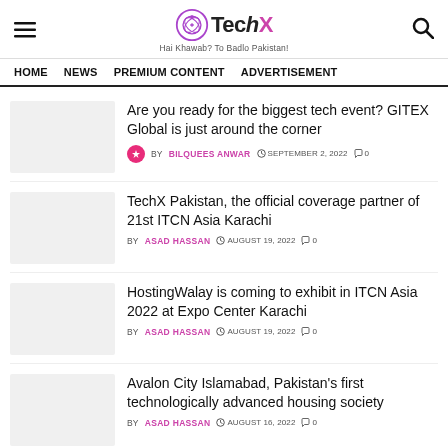TechX — Hai Khawab? To Badlo Pakistan!
HOME   NEWS   PREMIUM CONTENT   ADVERTISEMENT
Are you ready for the biggest tech event? GITEX Global is just around the corner
BY BILQUEES ANWAR  SEPTEMBER 2, 2022  0
TechX Pakistan, the official coverage partner of 21st ITCN Asia Karachi
BY ASAD HASSAN  AUGUST 19, 2022  0
HostingWalay is coming to exhibit in ITCN Asia 2022 at Expo Center Karachi
BY ASAD HASSAN  AUGUST 19, 2022  0
Avalon City Islamabad, Pakistan's first technologically advanced housing society
BY ASAD HASSAN  AUGUST 16, 2022  0